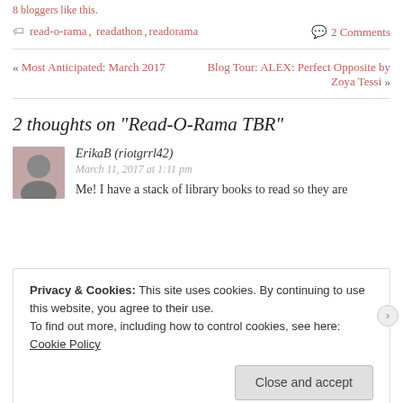8 bloggers like this.
read-o-rama, readathon, readorama
2 Comments
« Most Anticipated: March 2017
Blog Tour: ALEX: Perfect Opposite by Zoya Tessi »
2 thoughts on “Read-O-Rama TBR”
ErikaB (riotgrrl42)
March 11, 2017 at 1:11 pm
Me! I have a stack of library books to read so they are
Privacy & Cookies: This site uses cookies. By continuing to use this website, you agree to their use.
To find out more, including how to control cookies, see here: Cookie Policy
Close and accept